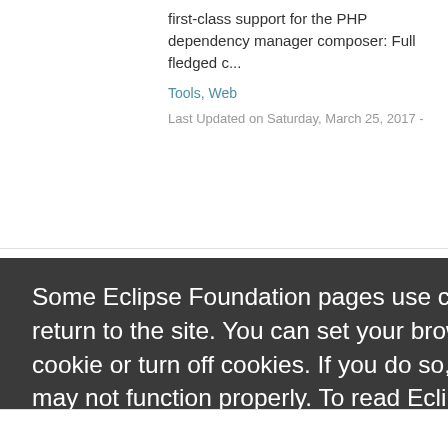first-class support for the PHP dependency manager composer: Full fledged c...
Tools, Web
Last Updated on Saturday, March 25, 2017 -
Some Eclipse Foundation pages use cookies to better serve you when you return to the site. You can set your browser to notify you before you receive a cookie or turn off cookies. If you do so, however, some areas of some sites may not function properly. To read Eclipse Foundation Privacy Policy click here.